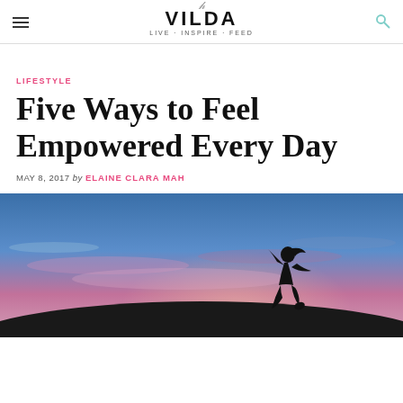VILDA
LIFESTYLE
Five Ways to Feel Empowered Every Day
MAY 8, 2017 by ELAINE CLARA MAH
[Figure (photo): Silhouette of a person jumping against a colorful sunset sky with blue and pink/purple tones]